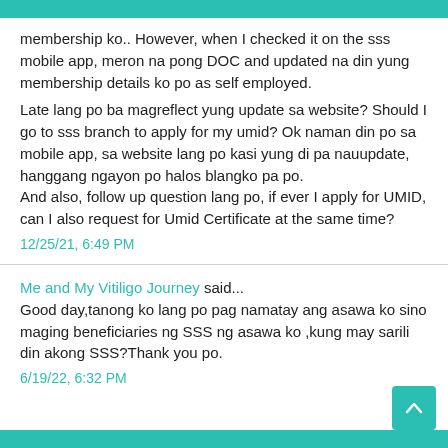membership ko.. However, when I checked it on the sss mobile app, meron na pong DOC and updated na din yung membership details ko po as self employed.

Late lang po ba magreflect yung update sa website? Should I go to sss branch to apply for my umid? Ok naman din po sa mobile app, sa website lang po kasi yung di pa nauupdate, hanggang ngayon po halos blangko pa po.
And also, follow up question lang po, if ever I apply for UMID, can I also request for Umid Certificate at the same time?
12/25/21, 6:49 PM
Me and My Vitiligo Journey said...
Good day,tanong ko lang po pag namatay ang asawa ko sino maging beneficiaries ng SSS ng asawa ko ,kung may sarili din akong SSS?Thank you po.
6/19/22, 6:32 PM